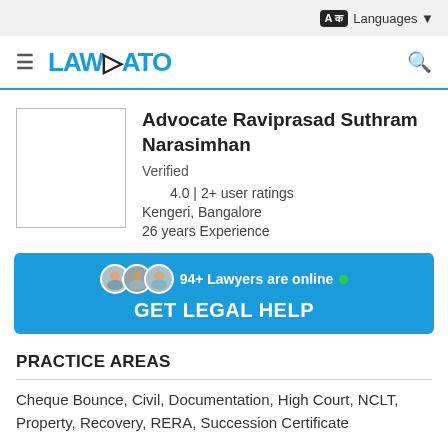Languages
[Figure (logo): LawRato logo with hamburger menu and search icon]
Advocate Raviprasad Suthram Narasimhan
Verified
4.0 | 2+ user ratings
Kengeri, Bangalore
26 years Experience
[Figure (infographic): Blue CTA banner: 94+ Lawyers are online, GET LEGAL HELP]
PRACTICE AREAS
Cheque Bounce, Civil, Documentation, High Court, NCLT, Property, Recovery, RERA, Succession Certificate